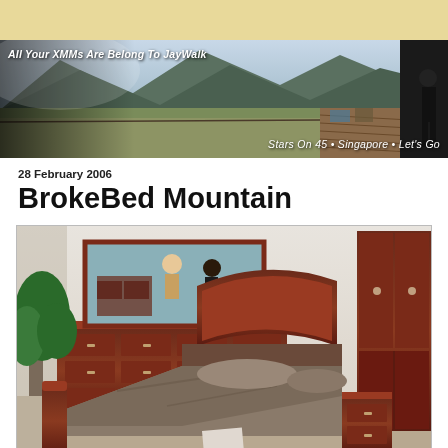[Figure (illustration): Blog header banner with tan/yellow background strip at top, then a wide panoramic landscape photo with mountains, fields, a wooden walkway and a person in dark clothing on the right. Text overlays: 'All Your XMMs Are Belong To JayWalk' top-left and 'Stars On 45 • Singapore • Let's Go' bottom-right.]
28 February 2006
BrokeBed Mountain
[Figure (photo): Indoor photo of a bedroom furniture showroom displaying a dark cherry wood sleigh bed with grey/tan bedding that appears collapsed or broken in the middle, along with a large dresser with mirror, a tall wardrobe, a plant, and people visible in the mirror reflection.]